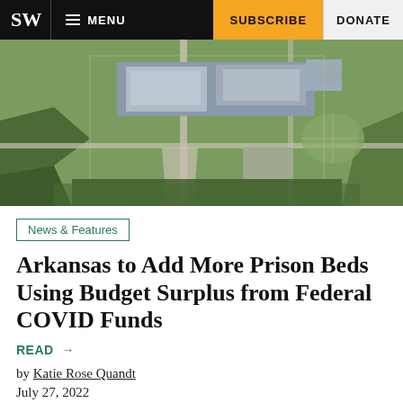SW | MENU | SUBSCRIBE | DONATE
[Figure (photo): Aerial view of an Arkansas prison facility surrounded by fields and roads]
News & Features
Arkansas to Add More Prison Beds Using Budget Surplus from Federal COVID Funds
READ →
by Katie Rose Quandt
July 27, 2022